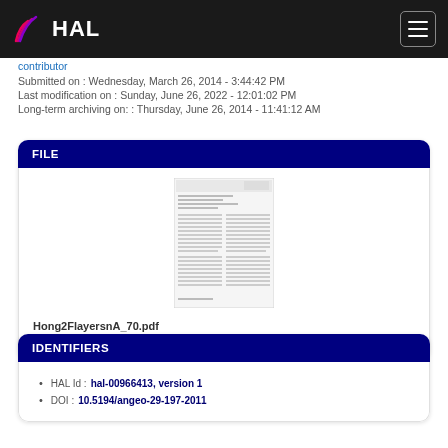HAL
contributor
Submitted on : Wednesday, March 26, 2014 - 3:44:42 PM
Last modification on : Sunday, June 26, 2022 - 12:01:02 PM
Long-term archiving on: : Thursday, June 26, 2014 - 11:41:12 AM
FILE
[Figure (other): Thumbnail preview of PDF document Hong2FlayersnA_70.pdf]
Hong2FlayersnA_70.pdf
Publisher files allowed on an open archive
IDENTIFIERS
HAL Id : hal-00966413, version 1
DOI : 10.5194/angeo-29-197-2011